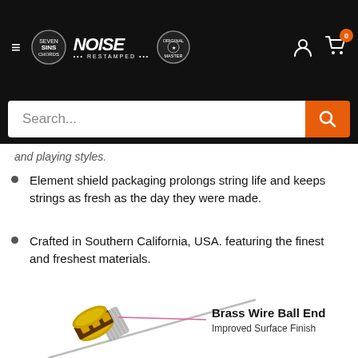Seven Sins Chords / NOISE Restamped / [logo] — navigation header with search bar
and playing styles.
Element shield packaging prolongs string life and keeps strings as fresh as the day they were made.
Crafted in Southern California, USA. featuring the finest and freshest materials.
[Figure (photo): Close-up product illustration of a guitar string ball end: a gold-colored brass ball end with brown/dark pickup winding visible, attached to a silver/steel guitar string. A pink callout line points to the ball end. Label on the right reads 'Brass Wire Ball End' (bold) and 'Improved Surface Finish' below it.]